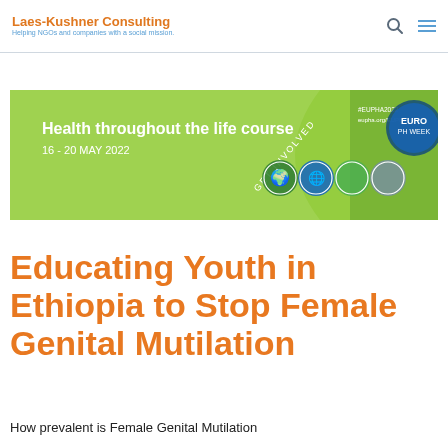Laes-Kushner Consulting — Helping NGOs and companies with a social mission.
[Figure (illustration): EUPHA 2022 conference banner: 'Health throughout the life course, 16-20 MAY 2022, GET INVOLVED, eupha.org/EUPHW' with green wave design and circular icons]
Educating Youth in Ethiopia to Stop Female Genital Mutilation
How prevalent is Female Genital Mutilation